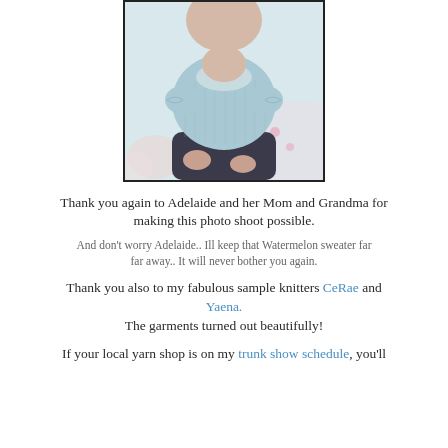[Figure (photo): A baby/toddler wearing a light blue knitted short-sleeve sweater, sitting on a floral patterned surface]
Thank you again to Adelaide and her Mom and Grandma for making this photo shoot possible.
And don't worry Adelaide.. Ill keep that Watermelon sweater far far away.. It will never bother you again.
Thank you also to my fabulous sample knitters CeRae and Yaena.
The garments turned out beautifully!
If your local yarn shop is on my trunk show schedule, you'll